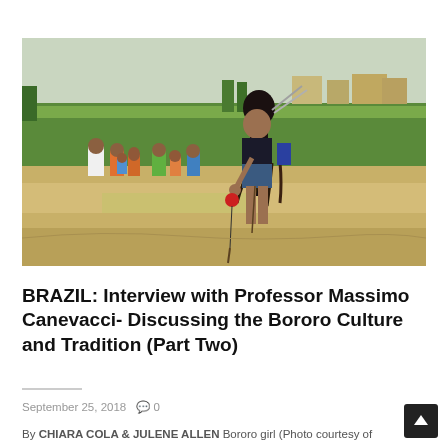[Figure (photo): Outdoor photo showing a young indigenous Bororo girl in traditional dress standing in a sandy area, holding a string with a red ornament. Several children are visible in the background on a grassy field, with buildings visible in the far background. The photo has natural daylight and appears to be taken at a Bororo village in Brazil.]
BRAZIL: Interview with Professor Massimo Canevacci- Discussing the Bororo Culture and Tradition (Part Two)
September 25, 2018   💬 0
By CHIARA COLA & JULENE ALLEN Bororo girl (Photo courtesy of